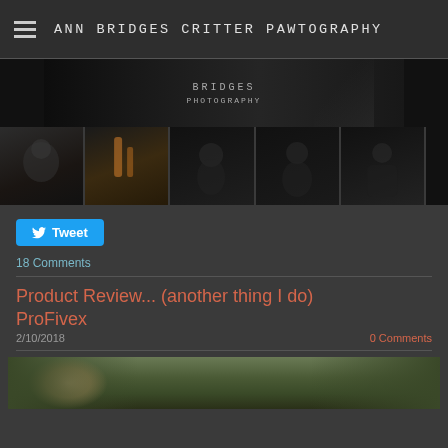ANN BRIDGES CRITTER PAWTOGRAPHY
[Figure (photo): Main banner photo with Bridges Photography logo/watermark on dark background with dog]
[Figure (photo): Row of 6 thumbnail dog portrait photographs on dark background]
Tweet
18 Comments
Product Review... (another thing I do) ProFivex
2/10/2018
0 Comments
[Figure (photo): Close-up photo of a dog with fur detail, green background]